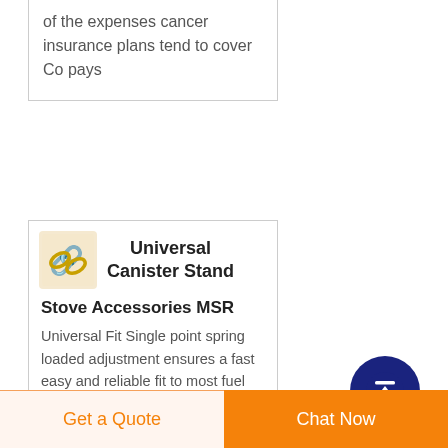of the expenses cancer insurance plans tend to cover Co pays
Universal Canister Stand
Stove Accessories MSR
Universal Fit Single point spring loaded adjustment ensures a fast easy and reliable fit to most fuel canisters world wide Ultralight and Compact Minimal weight and collapsible design makes
[Figure (logo): Small logo with chain-link style graphic on light orange/beige background]
[Figure (other): Dark navy blue circular button with white upward arrow icon]
Get a Quote
Chat Now